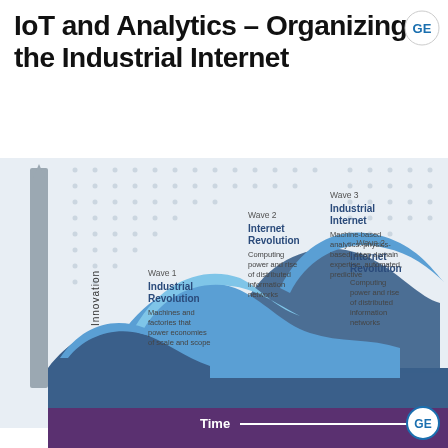IoT and Analytics – Organizing the Industrial Internet
[Figure (infographic): Three-wave infographic showing technological innovation waves over time. Wave 1: Industrial Revolution – Machines and factories that power economies of scale and scope. Wave 2: Internet Revolution – Computing power and rise of distributed information networks. Wave 3: Industrial Internet – Machine-based analytics: physics-based, deep domain expertise, automated, predictive. Y-axis labeled 'Innovation', X-axis labeled 'Time'. Background has dot-grid pattern.]